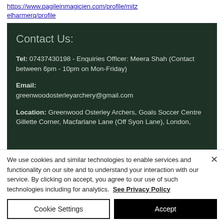https://www.pagileinmagicien.com/profile/mitzielharmerq/profile
Tel: 07437430198 - Enquiries Officer: Meera Shah (Contact between 6pm - 10pm on Mon-Friday)

Email:
greenwoodosterleyarchery@gmail.com

Location: Greenwood Osterley Archers, Goals Soccer Centre Gillette Corner, Macfarlane Lane (Off Syon Lane), London,
We use cookies and similar technologies to enable services and functionality on our site and to understand your interaction with our service. By clicking on accept, you agree to our use of such technologies including for analytics. See Privacy Policy
Cookie Settings
Accept